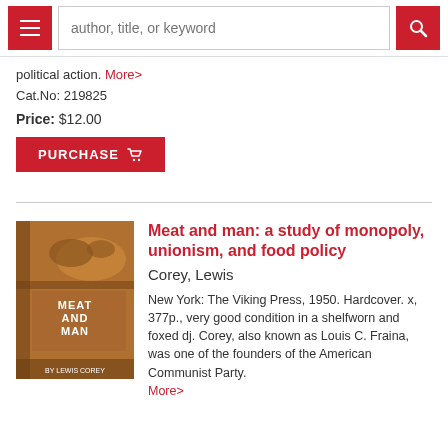author, title, or keyword
political action. More>
Cat.No: 219825
Price: $12.00
PURCHASE
[Figure (photo): Book cover of 'Meat and Man' by Lewis Corey, brown/orange tones with abstract cow design]
Meat and man: a study of monopoly, unionism, and food policy
Corey, Lewis
New York: The Viking Press, 1950. Hardcover. x, 377p., very good condition in a shelfworn and foxed dj. Corey, also known as Louis C. Fraina, was one of the founders of the American Communist Party. More>